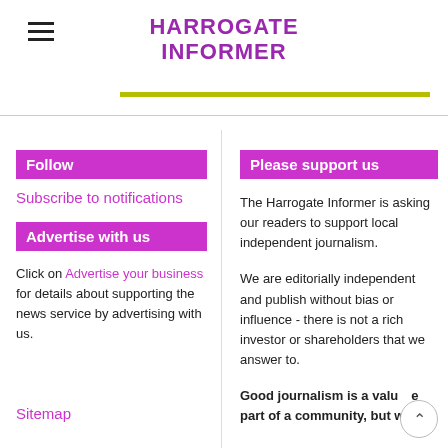HARROGATE INFORMER
Follow
Subscribe to notifications
Advertise with us
Click on Advertise your business for details about supporting the news service by advertising with us.
Sitemap
Please support us
The Harrogate Informer is asking our readers to support local independent journalism.
We are editorially independent and publish without bias or influence - there is not a rich investor or shareholders that we answer to.
Good journalism is a valuable part of a community, but we